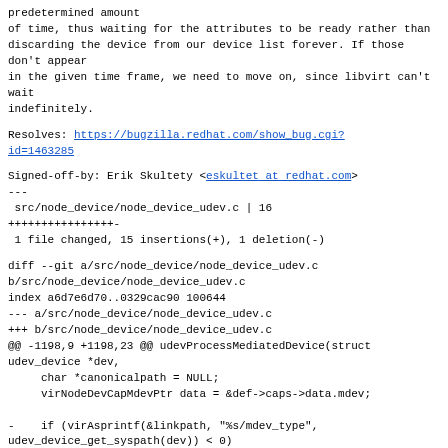predetermined amount
of time, thus waiting for the attributes to be ready rather than
discarding the device from our device list forever. If those don't appear
in the given time frame, we need to move on, since libvirt can't wait
indefinitely.
Resolves: https://bugzilla.redhat.com/show_bug.cgi?id=1463285
Signed-off-by: Erik Skultety <eskultet at redhat.com>
---
 src/node_device/node_device_udev.c | 16
++++++++++++++++-
 1 file changed, 15 insertions(+), 1 deletion(-)
diff --git a/src/node_device/node_device_udev.c b/src/node_device/node_device_udev.c
index a6d7e6d70..0329cac90 100644
--- a/src/node_device/node_device_udev.c
+++ b/src/node_device/node_device_udev.c
@@ -1198,9 +1198,23 @@ udevProcessMediatedDevice(struct udev_device *dev,
     char *canonicalpath = NULL;
     virNodeDevCapMdevPtr data = &def->caps->data.mdev;

-    if (virAsprintf(&linkpath, "%s/mdev_type",
udev_device_get_syspath(dev)) < 0)